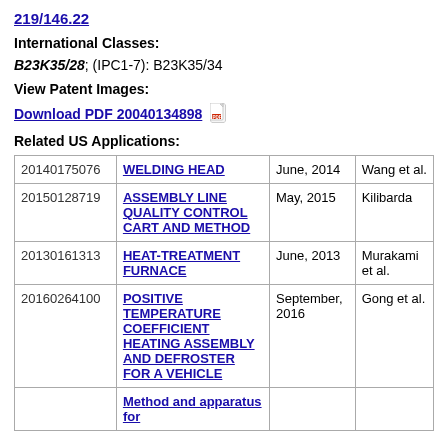219/146.22
International Classes:
B23K35/28; (IPC1-7): B23K35/34
View Patent Images:
Download PDF 20040134898
Related US Applications:
| Application | Title | Date | Inventor |
| --- | --- | --- | --- |
| 20140175076 | WELDING HEAD | June, 2014 | Wang et al. |
| 20150128719 | ASSEMBLY LINE QUALITY CONTROL CART AND METHOD | May, 2015 | Kilibarda |
| 20130161313 | HEAT-TREATMENT FURNACE | June, 2013 | Murakami et al. |
| 20160264100 | POSITIVE TEMPERATURE COEFFICIENT HEATING ASSEMBLY AND DEFROSTER FOR A VEHICLE | September, 2016 | Gong et al. |
|  | Method and apparatus for |  |  |